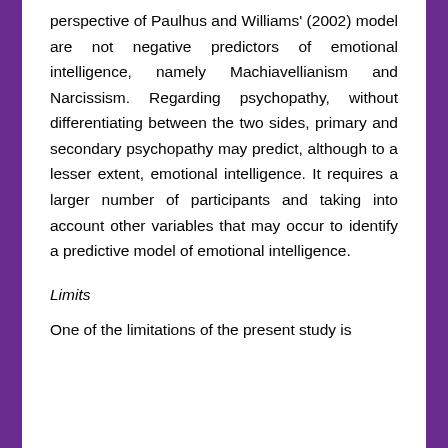perspective of Paulhus and Williams' (2002) model are not negative predictors of emotional intelligence, namely Machiavellianism and Narcissism. Regarding psychopathy, without differentiating between the two sides, primary and secondary psychopathy may predict, although to a lesser extent, emotional intelligence. It requires a larger number of participants and taking into account other variables that may occur to identify a predictive model of emotional intelligence.
Limits
One of the limitations of the present study is